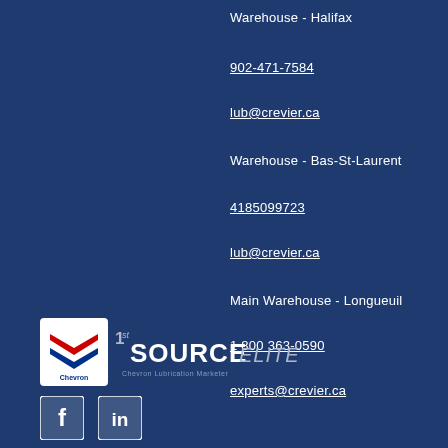Warehouse  -  Halifax
902-471-7584
lub@crevier.ca
Warehouse  -  Bas-St-Laurent
4185099723
lub@crevier.ca
Main Warehouse  -  Longueuil
1 800 363-0590
experts@crevier.ca
[Figure (logo): Chevron 1st Source Elite - Chevron Lubrication Marketer logo]
[Figure (illustration): Facebook and LinkedIn social media icons]